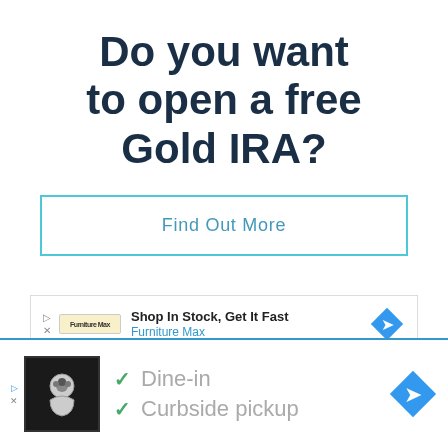Do you want to open a free Gold IRA?
Find Out More
[Figure (screenshot): Advertisement banner for Furniture Max: 'Shop In Stock, Get It Fast' with navigation icon]
[Figure (screenshot): Bottom advertisement bar showing restaurant logo with 'Dine-in' and 'Curbside pickup' checkmarks and navigation icon]